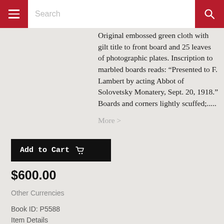Search
Original embossed green cloth with gilt title to front board and 25 leaves of photographic plates. Inscription to marbled boards reads: “Presented to F. Lambert by acting Abbot of Solovetsky Monatery, Sept. 20, 1918.” Boards and corners lightly scuffed;.....
More >
Add to Cart
$600.00
Other Currencies
Book ID: P5588
Item Details